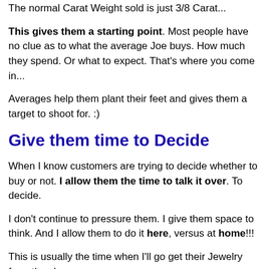The normal Carat Weight sold is just 3/8 Carat...
This gives them a starting point. Most people have no clue as to what the average Joe buys. How much they spend. Or what to expect. That's where you come in...
Averages help them plant their feet and gives them a target to shoot for. :)
Give them time to Decide
When I know customers are trying to decide whether to buy or not. I allow them the time to talk it over. To decide.
I don't continue to pressure them. I give them space to think. And I allow them to do it here, versus at home!!!
This is usually the time when I'll go get their Jewelry from the cleaner...